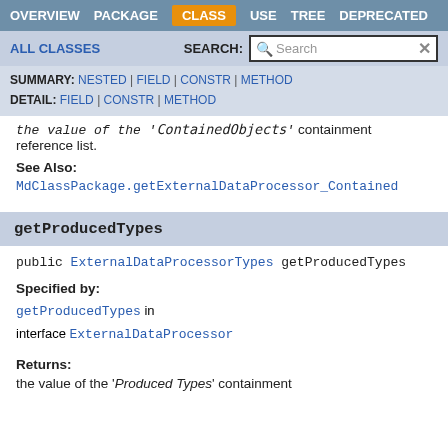OVERVIEW | PACKAGE | CLASS | USE | TREE | DEPRECATED
ALL CLASSES | SEARCH: [Search]
SUMMARY: NESTED | FIELD | CONSTR | METHOD
DETAIL: FIELD | CONSTR | METHOD
the value of the 'ContainedObjects' containment reference list.
See Also:
MdClassPackage.getExternalDataProcessor_Contained
getProducedTypes
public ExternalDataProcessorTypes getProducedType
Specified by:
getProducedTypes in interface ExternalDataProcessor
Returns:
the value of the 'Produced Types' containment